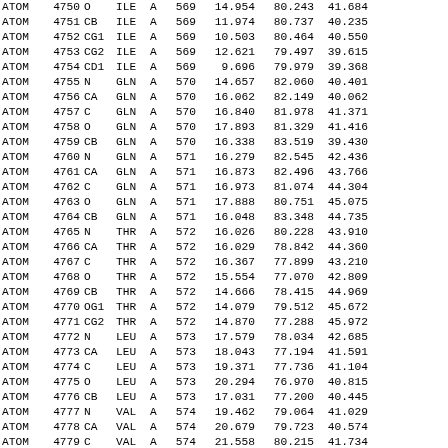| Record | Serial | Name | ResName | Chain | ResSeq | X | Y | Z | ... |
| --- | --- | --- | --- | --- | --- | --- | --- | --- | --- |
| ATOM | 4750 | O | ILE | A | 569 | 14.954 | 80.243 | 41.684 |  |
| ATOM | 4751 | CB | ILE | A | 569 | 11.974 | 80.737 | 40.235 |  |
| ATOM | 4752 | CG1 | ILE | A | 569 | 10.503 | 80.464 | 40.550 |  |
| ATOM | 4753 | CG2 | ILE | A | 569 | 12.621 | 79.497 | 39.615 |  |
| ATOM | 4754 | CD1 | ILE | A | 569 | 9.696 | 79.979 | 39.368 |  |
| ATOM | 4755 | N | GLN | A | 570 | 14.657 | 82.060 | 40.401 |  |
| ATOM | 4756 | CA | GLN | A | 570 | 16.062 | 82.149 | 40.062 |  |
| ATOM | 4757 | C | GLN | A | 570 | 16.840 | 81.978 | 41.371 |  |
| ATOM | 4758 | O | GLN | A | 570 | 17.893 | 81.329 | 41.416 |  |
| ATOM | 4759 | CB | GLN | A | 570 | 16.338 | 83.519 | 39.430 |  |
| ATOM | 4760 | N | GLN | A | 571 | 16.279 | 82.545 | 42.436 |  |
| ATOM | 4761 | CA | GLN | A | 571 | 16.873 | 82.496 | 43.766 |  |
| ATOM | 4762 | C | GLN | A | 571 | 16.973 | 81.074 | 44.304 |  |
| ATOM | 4763 | O | GLN | A | 571 | 17.888 | 80.751 | 45.075 |  |
| ATOM | 4764 | CB | GLN | A | 571 | 16.048 | 83.348 | 44.735 |  |
| ATOM | 4765 | N | THR | A | 572 | 16.026 | 80.228 | 43.910 |  |
| ATOM | 4766 | CA | THR | A | 572 | 16.029 | 78.842 | 44.360 |  |
| ATOM | 4767 | C | THR | A | 572 | 16.367 | 77.899 | 43.210 |  |
| ATOM | 4768 | O | THR | A | 572 | 15.554 | 77.070 | 42.809 |  |
| ATOM | 4769 | CB | THR | A | 572 | 14.666 | 78.415 | 44.969 |  |
| ATOM | 4770 | OG1 | THR | A | 572 | 14.079 | 79.512 | 45.672 |  |
| ATOM | 4771 | CG2 | THR | A | 572 | 14.870 | 77.288 | 45.972 |  |
| ATOM | 4772 | N | LEU | A | 573 | 17.579 | 78.034 | 42.685 |  |
| ATOM | 4773 | CA | LEU | A | 573 | 18.043 | 77.194 | 41.591 |  |
| ATOM | 4774 | C | LEU | A | 573 | 19.371 | 77.736 | 41.104 |  |
| ATOM | 4775 | O | LEU | A | 573 | 20.294 | 76.970 | 40.815 |  |
| ATOM | 4776 | CB | LEU | A | 573 | 17.031 | 77.200 | 40.445 |  |
| ATOM | 4777 | N | VAL | A | 574 | 19.462 | 79.064 | 41.029 |  |
| ATOM | 4778 | CA | VAL | A | 574 | 20.679 | 79.723 | 40.574 |  |
| ATOM | 4779 | C | VAL | A | 574 | 21.558 | 80.215 | 41.734 |  |